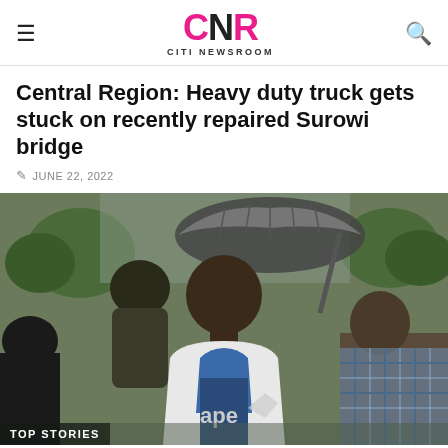CNR CITI NEWSROOM
Central Region: Heavy duty truck gets stuck on recently repaired Surowi bridge
JUNE 22, 2022
[Figure (photo): A man speaking outdoors under an umbrella held by another person, surrounded by other people, with trees in the background. A 'TOP STORIES' label appears in the lower left corner.]